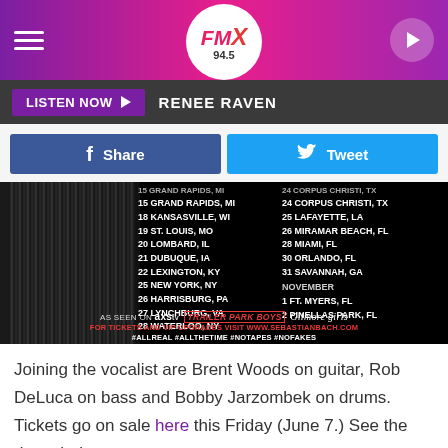FMX 94.5
LISTEN NOW  RENEE RAVEN
[Figure (screenshot): Sebastian Bach tour dates poster with two columns of city/date listings on black background, silhouette figure on left, logos for AXS tv, Trailer Park Boys, Gilmore Girls at bottom, red text for tickets URL and hashtags]
Joining the vocalist are Brent Woods on guitar, Rob DeLuca on bass and Bobby Jarzombek on drums. Tickets go on sale here this Friday (June 7.) See the dates below.